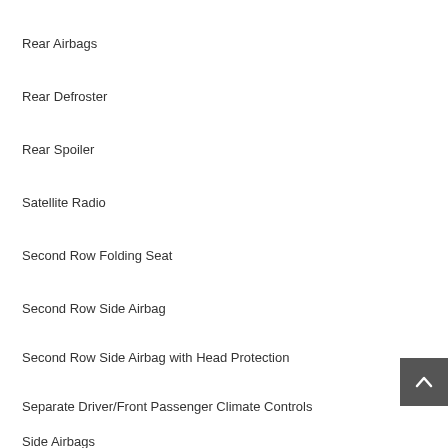Rear Airbags
Rear Defroster
Rear Spoiler
Satellite Radio
Second Row Folding Seat
Second Row Side Airbag
Second Row Side Airbag with Head Protection
Separate Driver/Front Passenger Climate Controls
Side Airbags